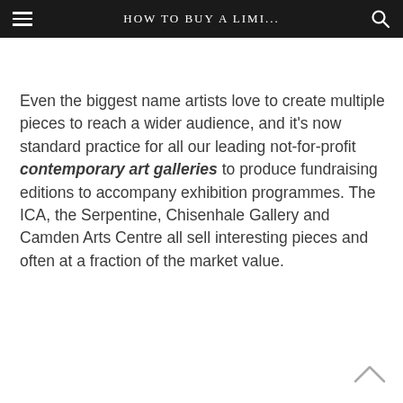HOW TO BUY A LIMI...
Even the biggest name artists love to create multiple pieces to reach a wider audience, and it's now standard practice for all our leading not-for-profit contemporary art galleries to produce fundraising editions to accompany exhibition programmes. The ICA, the Serpentine, Chisenhale Gallery and Camden Arts Centre all sell interesting pieces and often at a fraction of the market value.